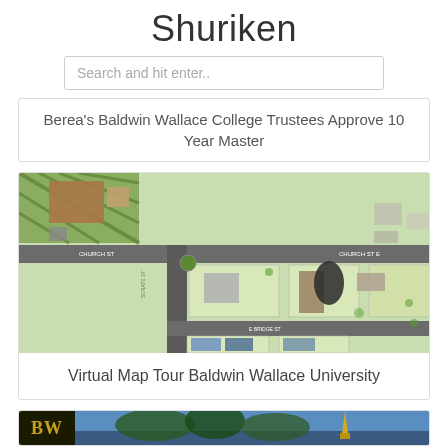Shuriken
Search and hit enter..
Berea's Baldwin Wallace College Trustees Approve 10 Year Master
[Figure (map): Aerial campus map of Baldwin Wallace University showing streets, buildings, and green spaces]
Virtual Map Tour Baldwin Wallace University
[Figure (photo): Bottom strip showing BW logo and a photo of a building/campus scene]